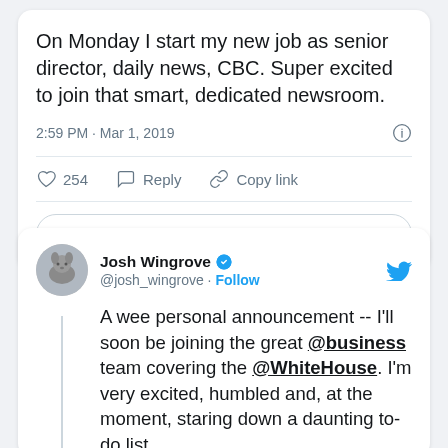On Monday I start my new job as senior director, daily news, CBC. Super excited to join that smart, dedicated newsroom.
2:59 PM · Mar 1, 2019
♡ 254   Reply   Copy link
Read 20 replies
Josh Wingrove @josh_wingrove · Follow
A wee personal announcement -- I'll soon be joining the great @business team covering the @WhiteHouse. I'm very excited, humbled and, at the moment, staring down a daunting to-do list